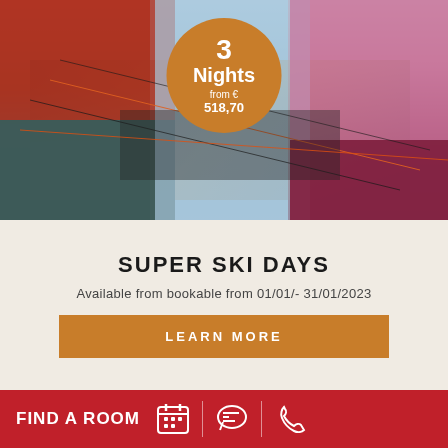[Figure (photo): Two skiers holding ski equipment in snowy mountain setting, one in orange/teal outfit and one in pink/burgundy outfit]
3 Nights from € 518,70
SUPER SKI DAYS
Available from bookable from 01/01/- 31/01/2023
LEARN MORE
FIND A ROOM